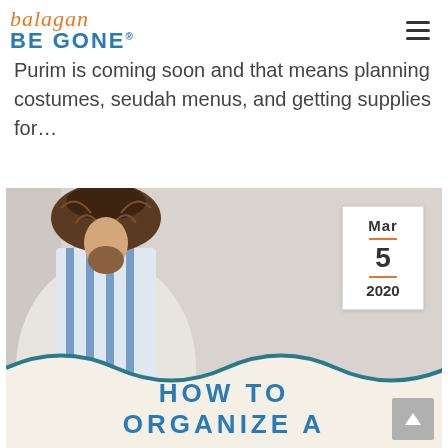balagan BE GONE
Purim is coming soon and that means planning costumes, seudah menus, and getting supplies for...
[Figure (photo): Photo of a person in a Purim costume wearing a furry hat and tallit-style garment, with a date badge showing Mar 5 2020 and overlay text reading HOW TO ORGANIZE A]
Mar 5 2020
HOW TO ORGANIZE A